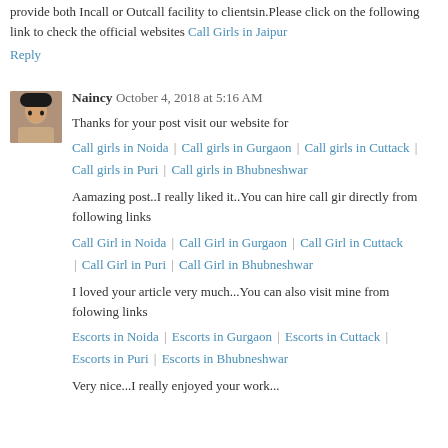provide both Incall or Outcall facility to clientsin.Please click on the following link to check the official websites Call Girls in Jaipur
Reply
Naincy  October 4, 2018 at 5:16 AM
Thanks for your post visit our website for Call girls in Noida | Call girls in Gurgaon | Call girls in Cuttack | Call girls in Puri | Call girls in Bhubneshwar
Aamazing post..I really liked it..You can hire call gir directly from following links Call Girl in Noida | Call Girl in Gurgaon | Call Girl in Cuttack | Call Girl in Puri | Call Girl in Bhubneshwar
I loved your article very much...You can also visit mine from folowing links Escorts in Noida | Escorts in Gurgaon | Escorts in Cuttack | Escorts in Puri | Escorts in Bhubneshwar
Very nice...I really enjoyed your work...